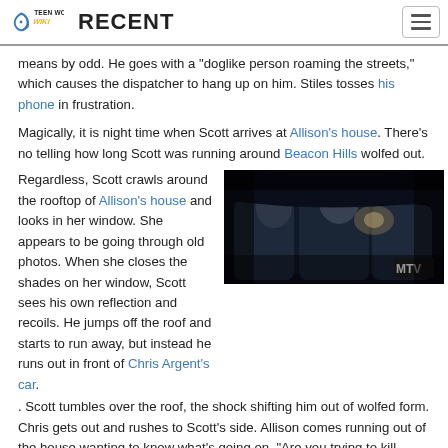Teen Wolf Wiki — RECENT
means by odd. He goes with a "doglike person roaming the streets," which causes the dispatcher to hang up on him. Stiles tosses his phone in frustration.
Magically, it is night time when Scott arrives at Allison's house. There's no telling how long Scott was running around Beacon Hills wolfed out.
Regardless, Scott crawls around the rooftop of Allison's house and looks in her window. She appears to be going through old photos. When she closes the shades on her window, Scott sees his own reflection and recoils. He jumps off the roof and starts to run away, but instead he runs out in front of Chris Argent's car. Scott tumbles over the roof, the shock shifting him out of wolfed form. Chris gets out and rushes to Scott's side. Allison comes running out of the house wanting to know what's going on. "Are you trying to kill him?" Scott is particularly interested in hearing Chris's response, but Chris just says that Scott ran out into the driveway. Scott takes full responsibility and apologizes for hitting the car.
[Figure (photo): Dark scene showing characters inside a car at night, MTV logo visible in corner]